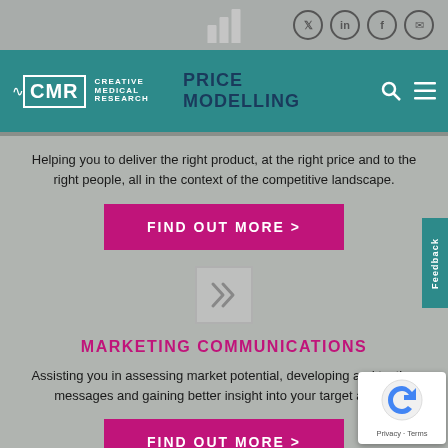CMR Creative Medical Research — Social icons: Twitter, LinkedIn, Facebook, Email
PRICE MODELLING
Helping you to deliver the right product, at the right price and to the right people, all in the context of the competitive landscape.
FIND OUT MORE >
[Figure (illustration): Double chevron/arrow icon pointing right]
MARKETING COMMUNICATIONS
Assisting you in assessing market potential, developing and testing messages and gaining better insight into your target audience.
FIND OUT MORE >